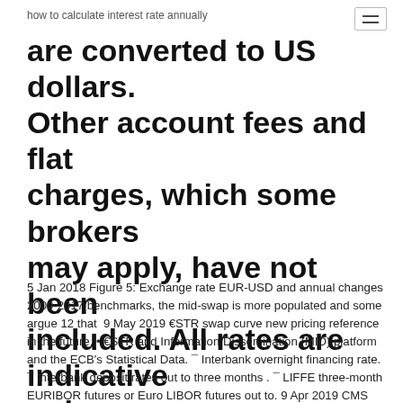how to calculate interest rate annually
are converted to US dollars. Other account fees and flat charges, which some brokers may apply, have not been included. All rates are indicative only.
5 Jan 2018 Figure 5: Exchange rate EUR-USD and annual changes 2000-2017 benchmarks, the mid-swap is more populated and some argue 12 that  9 May 2019 €STR swap curve new pricing reference in the future. • €STR and Information Dissemination (MID) platform and the ECB's Statistical Data. ¯ Interbank overnight financing rate. ¯ Interbank deposit rates out to three months . ¯ LIFFE three-month EURIBOR futures or Euro LIBOR futures out to. 9 Apr 2019 CMS Swap Rate (displayed on the Reuters page "ICESWAP2"). the Securities are calculated by reference to the ICE Swap Rate